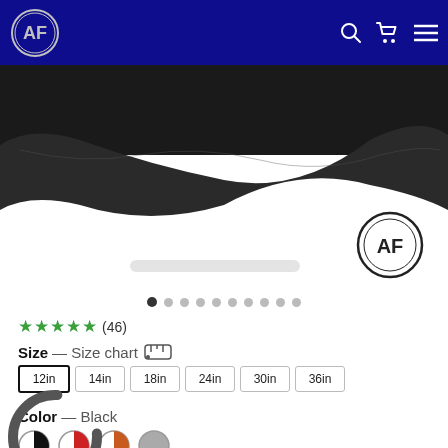[Figure (logo): AF logo circle in nav bar on dark blue background with search, cart, and menu icons]
[Figure (photo): Product photo of a black fabric item (appears to be a belt or band) on white background, with AF logo watermark at bottom right, carousel dots below]
★★★★★ (46)
Size — Size chart 📏
12in  14in  18in  24in  30in  36in
Color — Black
[Figure (other): Color swatches: black/white, red/white, orange/brown, gray]